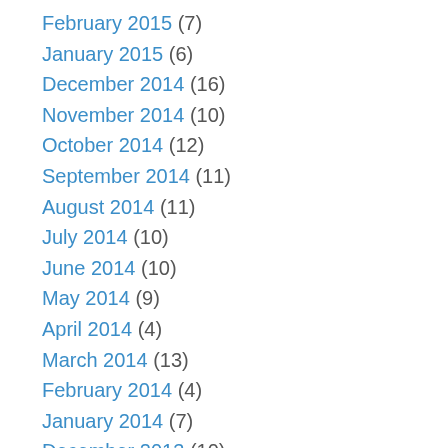February 2015 (7)
January 2015 (6)
December 2014 (16)
November 2014 (10)
October 2014 (12)
September 2014 (11)
August 2014 (11)
July 2014 (10)
June 2014 (10)
May 2014 (9)
April 2014 (4)
March 2014 (13)
February 2014 (4)
January 2014 (7)
December 2013 (10)